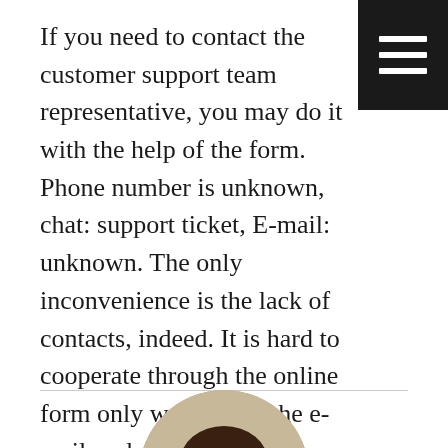If you need to contact the customer support team representative, you may do it with the help of the form. Phone number is unknown, chat: support ticket, E-mail: unknown. The only inconvenience is the lack of contacts, indeed. It is hard to cooperate through the online form only waiting for the e-mail reply.
[Figure (photo): Circular profile photo of a young woman with dark brown hair, bangs, wearing a dark top, against a light background.]
Melanie
Published